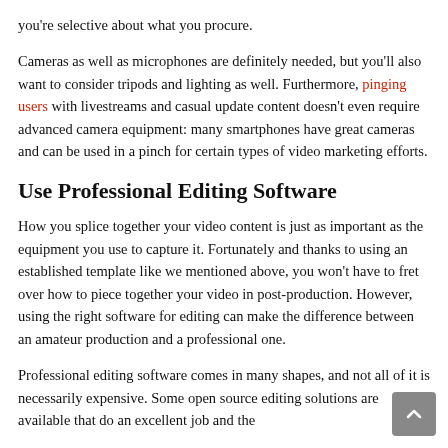you're selective about what you procure.
Cameras as well as microphones are definitely needed, but you'll also want to consider tripods and lighting as well. Furthermore, pinging users with livestreams and casual update content doesn't even require advanced camera equipment: many smartphones have great cameras and can be used in a pinch for certain types of video marketing efforts.
Use Professional Editing Software
How you splice together your video content is just as important as the equipment you use to capture it. Fortunately and thanks to using an established template like we mentioned above, you won't have to fret over how to piece together your video in post-production. However, using the right software for editing can make the difference between an amateur production and a professional one.
Professional editing software comes in many shapes, and not all of it is necessarily expensive. Some open source editing solutions are available that do an excellent job and the...